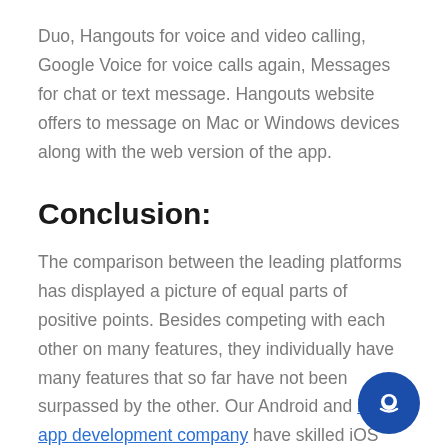Duo, Hangouts for voice and video calling, Google Voice for voice calls again, Messages for chat or text message. Hangouts website offers to message on Mac or Windows devices along with the web version of the app.
Conclusion:
The comparison between the leading platforms has displayed a picture of equal parts of positive points. Besides competing with each other on many features, they individually have many features that so far have not been surpassed by the other. Our Android and iOS app development company have skilled iOS Android app developers to indulge in app